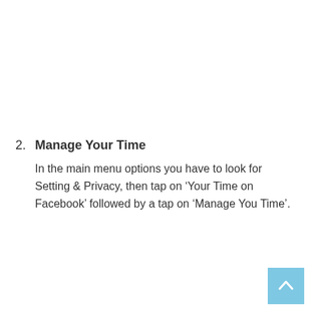2. Manage Your Time
In the main menu options you have to look for Setting & Privacy, then tap on ‘Your Time on Facebook’ followed by a tap on ‘Manage You Time’.